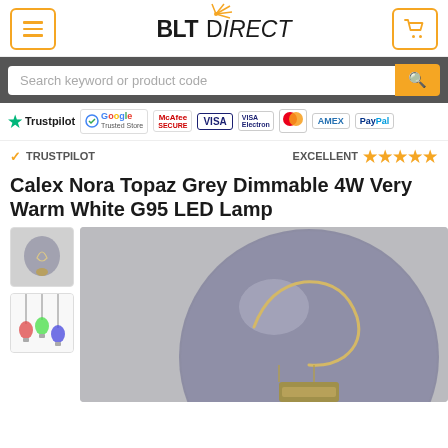BLT Direct
Search keyword or product code
[Figure (infographic): Trust badges: Trustpilot, Google Trusted Store, McAfee Secure, VISA, VISA Electron, Mastercard, AMEX, PayPal]
✔ TRUSTPILOT    EXCELLENT ★★★★★
Calex Nora Topaz Grey Dimmable 4W Very Warm White G95 LED Lamp
[Figure (photo): Thumbnail of grey G95 LED bulb]
[Figure (photo): Thumbnail of hanging decorative bulbs]
[Figure (photo): Main product image: large grey G95 LED lamp with visible filament loop, Calex Nora Topaz]